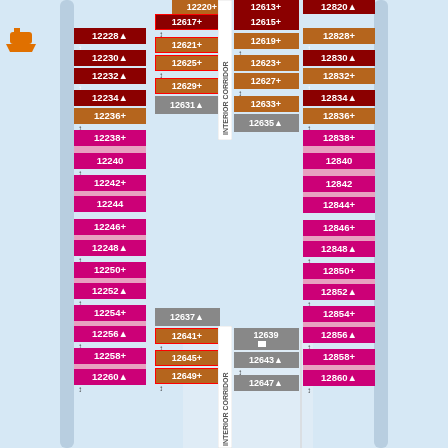[Figure (schematic): Cruise ship deck plan showing cabin layout for deck 12. Left column shows port-side cabins (12228-12260), center columns show interior corridor cabins (12613-12649 and 12615-12647), and right column shows starboard cabins (12828-12860). Cabins are color-coded: brown/dark-red for ocean-view/balcony types, pink/magenta for interior cabins, gray for specific cabin types. Red borders indicate special cabin categories. Vertical arrows indicate connecting cabins. Text labels 'INTERIOR CORRIDOR' appear vertically.]